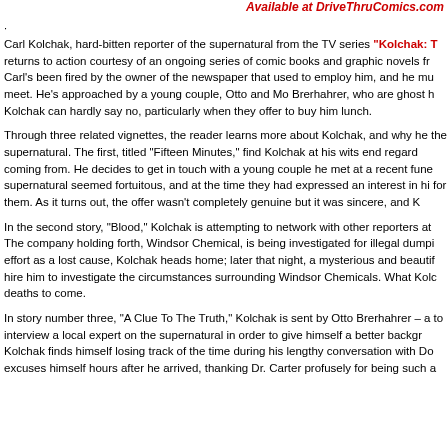Available at DriveThruComics.com
Carl Kolchak, hard-bitten reporter of the supernatural from the TV series "Kolchak: T returns to action courtesy of an ongoing series of comic books and graphic novels fr Carl's been fired by the owner of the newspaper that used to employ him, and he mu meet. He's approached by a young couple, Otto and Mo Brerhahrer, who are ghost h Kolchak can hardly say no, particularly when they offer to buy him lunch.
Through three related vignettes, the reader learns more about Kolchak, and why he the supernatural. The first, titled “Fifteen Minutes,” find Kolchak at his wits end regard coming from. He decides to get in touch with a young couple he met at a recent fune supernatural seemed fortuitous, and at the time they had expressed an interest in hi for them. As it turns out, the offer wasn’t completely genuine but it was sincere, and K
In the second story, “Blood,” Kolchak is attempting to network with other reporters at The company holding forth, Windsor Chemical, is being investigated for illegal dumpi effort as a lost cause, Kolchak heads home; later that night, a mysterious and beautif hire him to investigate the circumstances surrounding Windsor Chemicals. What Kolc deaths to come.
In story number three, “A Clue To The Truth,” Kolchak is sent by Otto Brerhahrer – a to interview a local expert on the supernatural in order to give himself a better backgr Kolchak finds himself losing track of the time during his lengthy conversation with Do excuses himself hours after he arrived, thanking Dr. Carter profusely for being such a